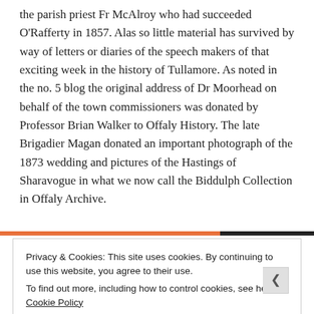the parish priest Fr McAlroy who had succeeded O'Rafferty in 1857. Alas so little material has survived by way of letters or diaries of the speech makers of that exciting week in the history of Tullamore. As noted in the no. 5 blog the original address of Dr Moorhead on behalf of the town commissioners was donated by Professor Brian Walker to Offaly History. The late Brigadier Magan donated an important photograph of the 1873 wedding and pictures of the Hastings of Sharavogue in what we now call the Biddulph Collection in Offaly Archive.
Privacy & Cookies: This site uses cookies. By continuing to use this website, you agree to their use. To find out more, including how to control cookies, see here: Cookie Policy
Close and accept